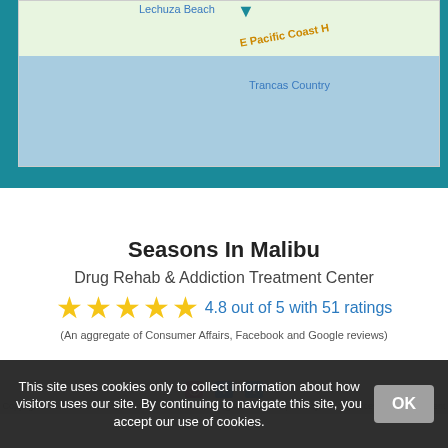[Figure (map): Google Maps screenshot showing Lechuza Beach area near E Pacific Coast Highway with Trancas Country marker visible. Blue ocean/water area dominates lower portion, green land area at top.]
Seasons In Malibu
Drug Rehab & Addiction Treatment Center
4.8 out of 5 with 51 ratings
(An aggregate of Consumer Affairs, Facebook and Google reviews)
This site uses cookies only to collect information about how visitors uses our site. By continuing to navigate this site, you accept our use of cookies.